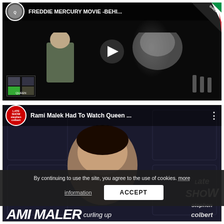[Figure (screenshot): YouTube video thumbnail: 'FREDDIE MERCURY MOVIE -BEHI...' with Queen fan channel avatar, two people on a dark stage, play button overlay, video strip in lower left, Italian flag/Queen badge in top right corner]
[Figure (screenshot): YouTube video thumbnail: 'Rami Malek Had To Watch Queen ...' with Late Show Stephen Colbert avatar, dark ornate background, Rami Malek's face, 'AMI MALEK' text at bottom, Late Show branding at right]
By continuing to use the site, you agree to the use of cookies. more information
ACCEPT